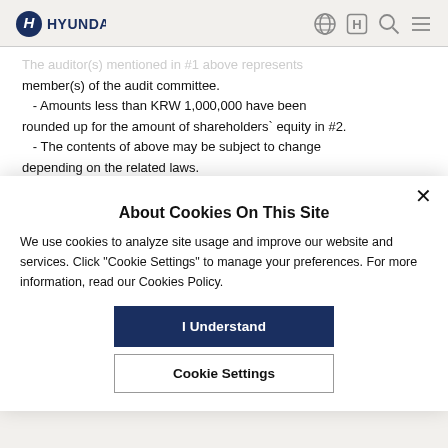Hyundai
The auditor(s) mentioned in #1 above represents member(s) of the audit committee.
  - Amounts less than KRW 1,000,000 have been rounded up for the amount of shareholders' equity in #2.
  - The contents of above may be subject to change depending on the related laws.
About Cookies On This Site
We use cookies to analyze site usage and improve our website and services. Click "Cookie Settings" to manage your preferences. For more information, read our Cookies Policy.
I Understand
Cookie Settings